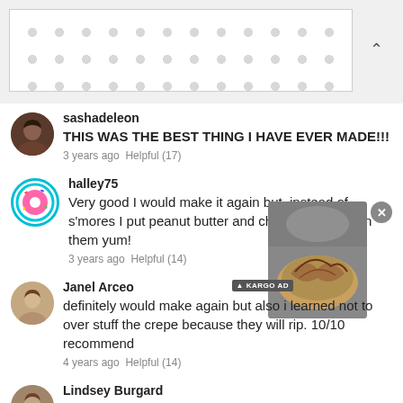[Figure (other): Advertisement banner with dotted pattern background]
sashadeleon
THIS WAS THE BEST THING I HAVE EVER MADE!!!
3 years ago Helpful (17)
halley75
Very good I would make it again but, instead of s'mores I put peanut butter and chocolate syrup on them yum!
3 years ago Helpful (14)
Janel Arceo
definitely would make again but also i learned not to over stuff the crepe because they will rip. 10/10 recommend
4 years ago Helpful (14)
Lindsey Burgard